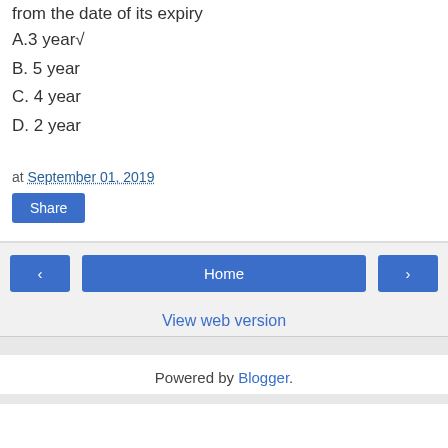from the date of its expiry
A.3 year√
B. 5 year
C. 4 year
D. 2 year
at September 01, 2019
Share
◂  Home  ▸  View web version  Powered by Blogger.